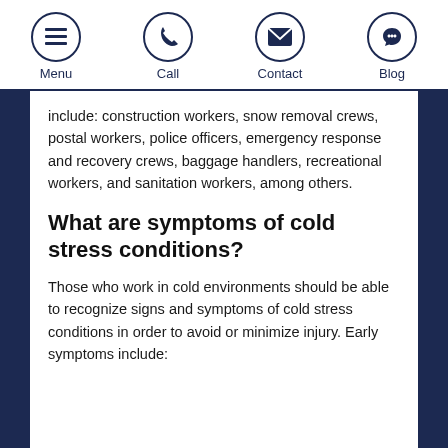Menu | Call | Contact | Blog
include: construction workers, snow removal crews, postal workers, police officers, emergency response and recovery crews, baggage handlers, recreational workers, and sanitation workers, among others.
What are symptoms of cold stress conditions?
Those who work in cold environments should be able to recognize signs and symptoms of cold stress conditions in order to avoid or minimize injury.  Early symptoms include: